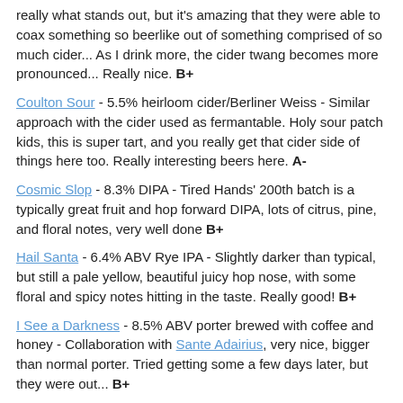really what stands out, but it's amazing that they were able to coax something so beerlike out of something comprised of so much cider... As I drink more, the cider twang becomes more pronounced... Really nice. B+
Coulton Sour - 5.5% heirloom cider/Berliner Weiss - Similar approach with the cider used as fermantable. Holy sour patch kids, this is super tart, and you really get that cider side of things here too. Really interesting beers here. A-
Cosmic Slop - 8.3% DIPA - Tired Hands' 200th batch is a typically great fruit and hop forward DIPA, lots of citrus, pine, and floral notes, very well done B+
Hail Santa - 6.4% ABV Rye IPA - Slightly darker than typical, but still a pale yellow, beautiful juicy hop nose, with some floral and spicy notes hitting in the taste. Really good! B+
I See a Darkness - 8.5% ABV porter brewed with coffee and honey - Collaboration with Sante Adairius, very nice, bigger than normal porter. Tried getting some a few days later, but they were out... B+
Sgt. Salamander - 5% ABV Holiday Sour Berliner